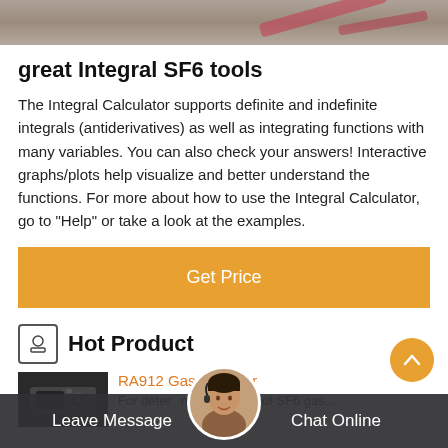[Figure (photo): Top photo strip showing a blurred background with pink/red ribbon decorations]
great Integral SF6 tools
The Integral Calculator supports definite and indefinite integrals (antiderivatives) as well as integrating functions with many variables. You can also check your answers! Interactive graphs/plots help visualize and better understand the functions. For more about how to use the Integral Calculator, go to "Help" or take a look at the examples.
Get Price
Hot Product
RA912 Gas Analyzer
For determining the quality of SF6 gas...
Leave Message  Chat Online